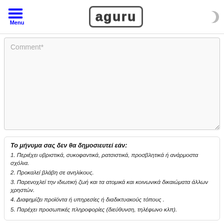Menu | AGURU
[Figure (screenshot): Comment text input field (textarea) with placeholder text 'Comment*']
Το μήνυμα σας δεν θα δημοσιευτεί εάν:
1. Περιέχει υβριστικά, συκοφαντικά, ρατσιστικά, προσβλητικά ή ανάρμοστα σχόλια.
2. Προκαλεί βλάβη σε ανηλίκους.
3. Παρενοχλεί την ιδιωτική ζωή και τα ατομικά και κοινωνικά δικαιώματα άλλων χρηστών.
4. Διαφημίζει προϊόντα ή υπηρεσίες ή διαδικτυακούς τόπους .
5. Παρέχει προσωπικές πληροφορίες (διεύθυνση, τηλέφωνο κλπ).